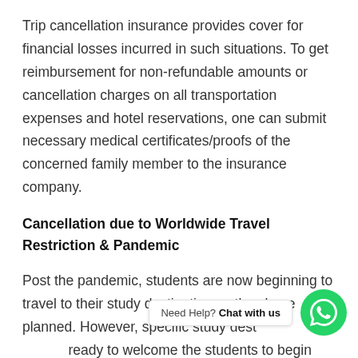Trip cancellation insurance provides cover for financial losses incurred in such situations. To get reimbursement for non-refundable amounts or cancellation charges on all transportation expenses and hotel reservations, one can submit necessary medical certificates/proofs of the concerned family member to the insurance company.
Cancellation due to Worldwide Travel Restriction & Pandemic
Post the pandemic, students are now beginning to travel to their study destination as they have planned. However, specific study dest... ready to welcome the students to begin